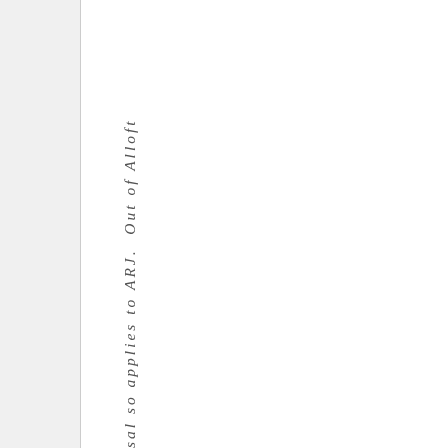sal so applies to ARJ. Out of Alloft